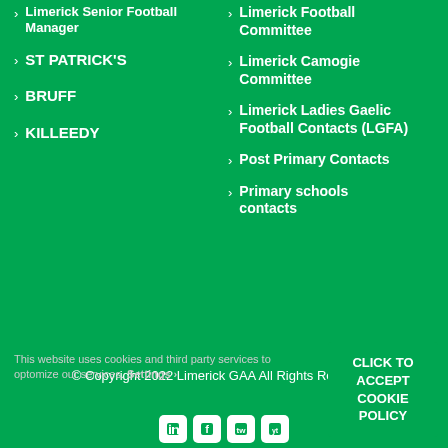Limerick Senior Football Manager
ST PATRICK'S
BRUFF
KILLEEDY
Limerick Football Committee
Limerick Camogie Committee
Limerick Ladies Gaelic Football Contacts (LGFA)
Post Primary Contacts
Primary schools contacts
© Copyright 2022 Limerick GAA All Rights Reserved.
This website uses cookies and third party services to optomize our services. Settings
CLICK TO ACCEPT COOKIE POLICY